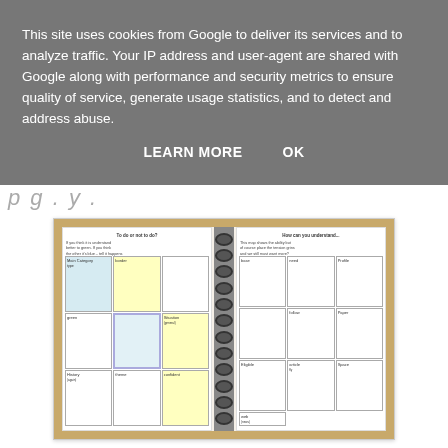This site uses cookies from Google to deliver its services and to analyze traffic. Your IP address and user-agent are shared with Google along with performance and security metrics to ensure quality of service, generate usage statistics, and to detect and address abuse.
LEARN MORE    OK
[Figure (photo): A spiral-bound notebook open to two pages showing a handwritten grid/table with colored cells (blue and yellow highlights). The left page has a title and questions written at the top, with a grid of cells below, some colored blue and yellow. The right page has a similar grid structure. The notebook is photographed on a wooden surface.]